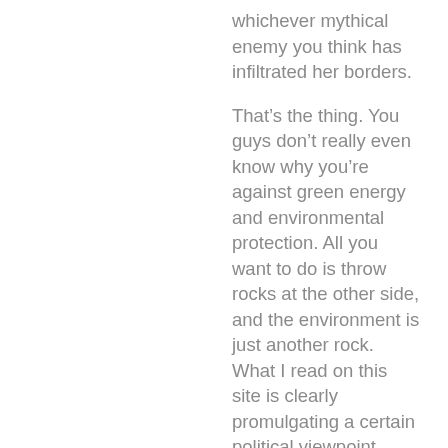whichever mythical enemy you think has infiltrated her borders.
That’s the thing. You guys don’t really even know why you’re against green energy and environmental protection. All you want to do is throw rocks at the other side, and the environment is just another rock. What I read on this site is clearly promulgating a certain political viewpoint, which is further reflected in the nature of the comments here.